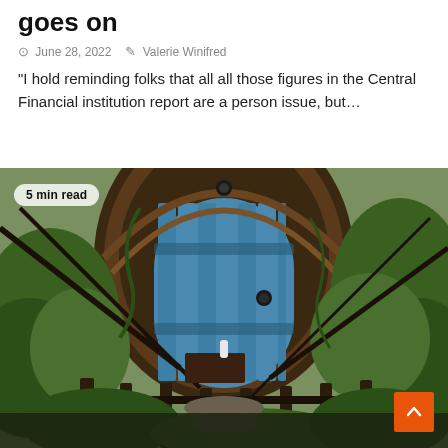goes on
June 28, 2022   Valerie Winifred
“I hold reminding folks that all all those figures in the Central Financial institution report are a person issue, but…
[Figure (photo): Photo of a rustic hobbit-like round wooden door painted blue, surrounded by wooden archway with vines, lush green foliage and branches in foreground, garden setting. Badge overlay reads '5 min read'. Orange scroll-to-top button in bottom right.]